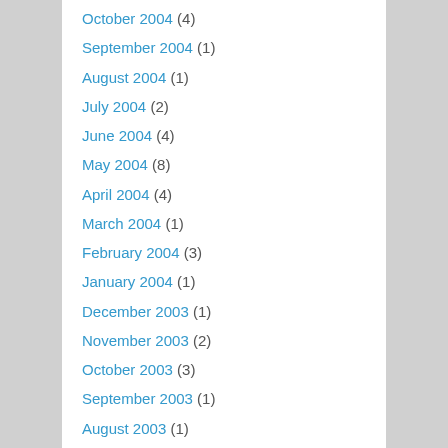October 2004 (4)
September 2004 (1)
August 2004 (1)
July 2004 (2)
June 2004 (4)
May 2004 (8)
April 2004 (4)
March 2004 (1)
February 2004 (3)
January 2004 (1)
December 2003 (1)
November 2003 (2)
October 2003 (3)
September 2003 (1)
August 2003 (1)
July 2003 (2)
June 2003 (2)
May 2003 (1)
April 2003 (1)
March 2003 (3)
February 2003 (6)
January 2003 (2)